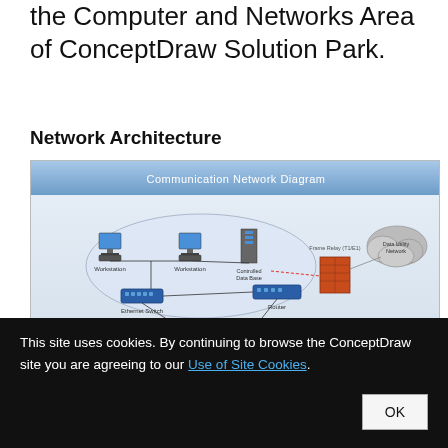the Computer and Networks Area of ConceptDraw Solution Park.
Network Architecture
[Figure (network-graph): Communication Network Diagram showing Workstations, Controlled Data Base, Ethernet Switch, Router, Frame Relay (T1/E1), Data Utility Network, and Concentrator connected in a network topology.]
This site uses cookies. By continuing to browse the ConceptDraw site you are agreeing to our Use of Site Cookies.